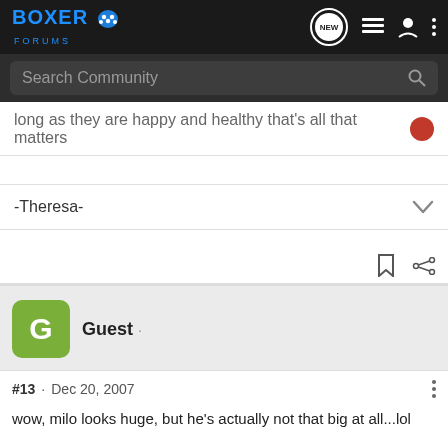Boxer Forums
long as they are happy and healthy that's all that matters
-Theresa-
Guest ·
#13 · Dec 20, 2007
wow, milo looks huge, but he's actually not that big at all...lol